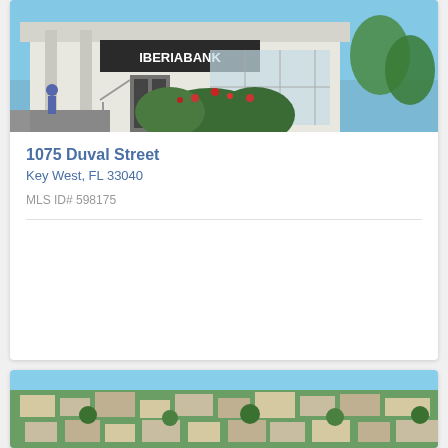[Figure (photo): Photo of IBERIABANK branch at 1075 Duval Street, Key West — white building exterior with bank signage, decorative shrubs with red flowers, handrails, and parking area visible]
1075 Duval Street
Key West, FL 33040
MLS ID# 598175
[Figure (photo): Aerial view of a residential neighborhood in Key West showing densely packed homes with trees]